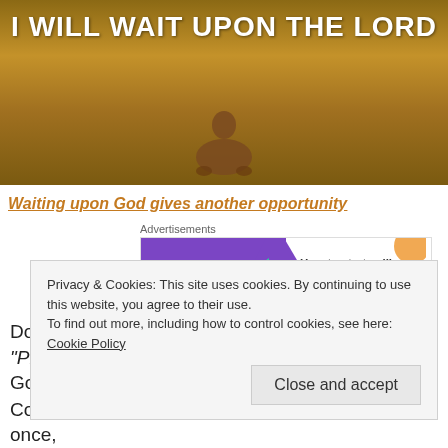[Figure (photo): Person sitting cross-legged in a field with text overlay 'I WILL WAIT UPON THE LORD']
Waiting upon God gives another opportunity
Advertisements
[Figure (other): WooCommerce advertisement banner: How to start selling subscriptions online]
Does the Bible not expressly enjoin believers, "Pray without ceasing" [1Thessalonians 5:17]? God is
Privacy & Cookies: This site uses cookies. By continuing to use this website, you agree to their use.
To find out more, including how to control cookies, see here: Cookie Policy
Close and accept
Cornelius did not do what was required of him just once,